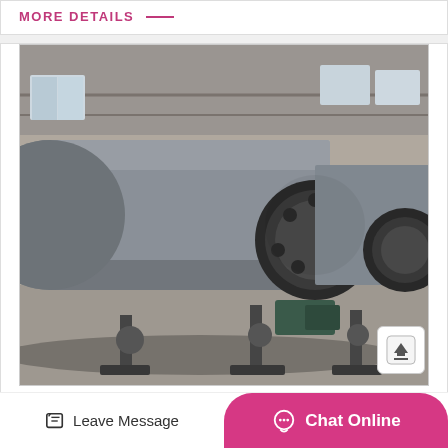MORE DETAILS —
[Figure (photo): Industrial rotary drum / cylinder mill equipment in a factory/warehouse setting. Large grey cylindrical drums with black gear rings, mounted on frames, inside a concrete industrial building.]
Stone Crusher Manufacturing Equipment in
Leave Message
Chat Online